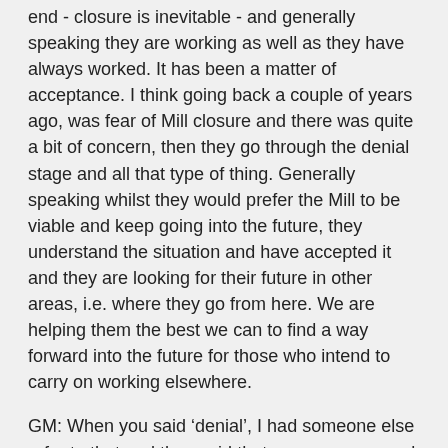end - closure is inevitable - and generally speaking they are working as well as they have always worked. It has been a matter of acceptance. I think going back a couple of years ago, was fear of Mill closure and there was quite a bit of concern, then they go through the denial stage and all that type of thing. Generally speaking whilst they would prefer the Mill to be viable and keep going into the future, they understand the situation and have accepted it and they are looking for their future in other areas, i.e. where they go from here. We are helping them the best we can to find a way forward into the future for those who intend to carry on working elsewhere.
GM: When you said 'denial', I had someone else refer to that and they said that everyone seemed to be waiting for the 'white knight' to charge in and save everyone and everything would be all right. Something would come along, you know? But when you have got so many external factors pressuring in on it, it is tough. What do you think is the likely future for sugar in Queensland?
GC: My own personal view is that it is going to be very hard into the future. There is an urgent need for restructuring and that means freeing up the Act, further deregulation in line with what the State Government has proposed. There is certainly a need for that. There